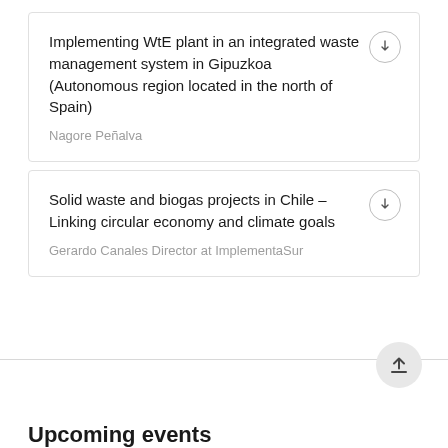Implementing WtE plant in an integrated waste management system in Gipuzkoa (Autonomous region located in the north of Spain)
Nagore Peñalva
Solid waste and biogas projects in Chile – Linking circular economy and climate goals
Gerardo Canales Director at ImplementaSur
Upcoming events